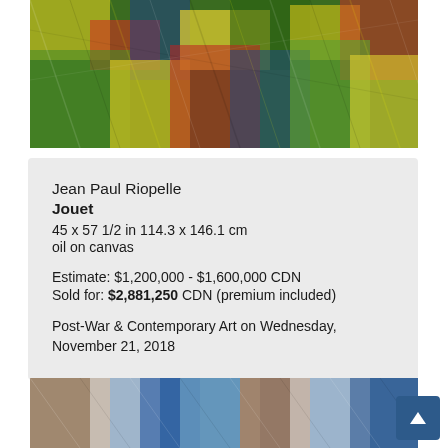[Figure (photo): Abstract expressionist painting with vivid splashes of green, yellow, red, blue colors — top crop of artwork]
Jean Paul Riopelle
Jouet
45 x 57 1/2 in 114.3 x 146.1 cm
oil on canvas

Estimate: $1,200,000 - $1,600,000 CDN
Sold for: $2,881,250 CDN (premium included)

Post-War & Contemporary Art on Wednesday, November 21, 2018
[Figure (photo): Abstract expressionist painting with blue, white, orange colors — bottom crop of artwork]